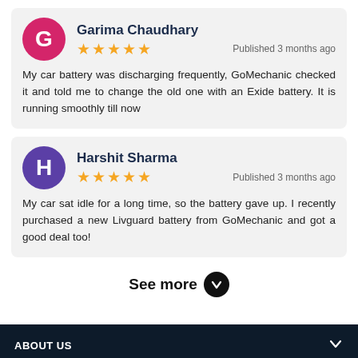Garima Chaudhary — ★★★★★ — Published 3 months ago
My car battery was discharging frequently, GoMechanic checked it and told me to change the old one with an Exide battery. It is running smoothly till now
Harshit Sharma — ★★★★★ — Published 3 months ago
My car sat idle for a long time, so the battery gave up. I recently purchased a new Livguard battery from GoMechanic and got a good deal too!
See more
ABOUT US